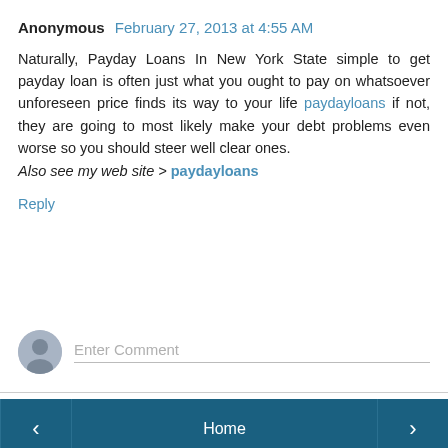Anonymous February 27, 2013 at 4:55 AM
Naturally, Payday Loans In New York State simple to get payday loan is often just what you ought to pay on whatsoever unforeseen price finds its way to your life paydayloans if not, they are going to most likely make your debt problems even worse so you should steer well clear ones. Also see my web site > paydayloans
Reply
[Figure (other): User avatar icon placeholder — grey circle with silhouette]
Enter Comment
< Home >
About Me